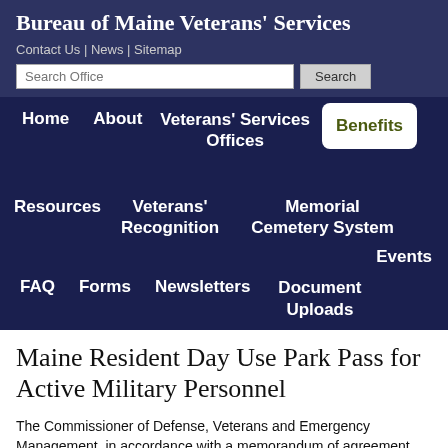Bureau of Maine Veterans' Services
Contact Us | News | Sitemap
Maine Resident Day Use Park Pass for Active Military Personnel
The Commissioner of Defense, Veterans and Emergency Management, in accordance with a memorandum of agreement entered into with the Commissioner of Conservation shall issue a free day use pass to state parks and historic sites to eligible active duty miliitary personnel.
The pass entitles the holder, and the holder's spouse and children when accompanied by the holder, to admission free of charge to state parks and historic sites.